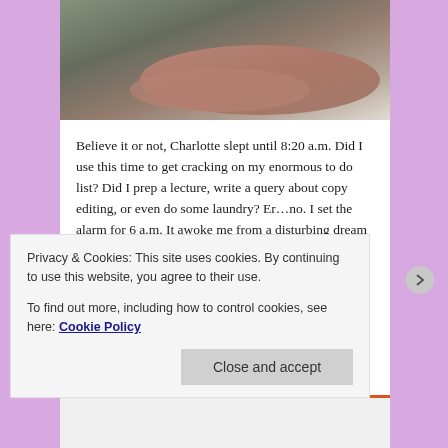[Figure (photo): Partial close-up photo of what appears to be a person's arm or hand resting on a surface, with muted earthy tones.]
Believe it or not, Charlotte slept until 8:20 a.m. Did I use this time to get cracking on my enormous to do list? Did I prep a lecture, write a query about copy editing, or even do some laundry? Er…no. I set the alarm for 6 a.m. It awoke me from a disturbing dream (seriously, if I could do Julia Cameron's morning pages, I'd have some amazing screenplays. I even had the privilege of taking a screenwriting with her in a previous iteration of my life. Geesh.) and I decided to let Charlotte be my alarm.
Privacy & Cookies: This site uses cookies. By continuing to use this website, you agree to their use.
To find out more, including how to control cookies, see here: Cookie Policy